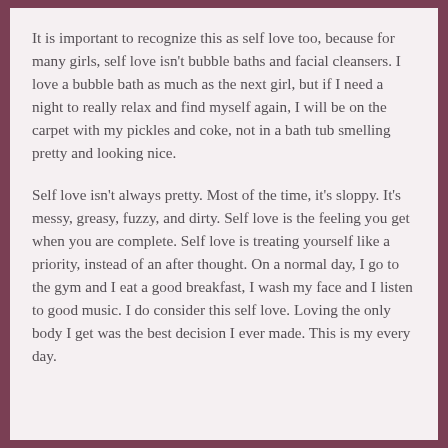It is important to recognize this as self love too, because for many girls, self love isn't bubble baths and facial cleansers. I love a bubble bath as much as the next girl, but if I need a night to really relax and find myself again, I will be on the carpet with my pickles and coke, not in a bath tub smelling pretty and looking nice.
Self love isn't always pretty. Most of the time, it's sloppy. It's messy, greasy, fuzzy, and dirty. Self love is the feeling you get when you are complete. Self love is treating yourself like a priority, instead of an after thought. On a normal day, I go to the gym and I eat a good breakfast, I wash my face and I listen to good music. I do consider this self love. Loving the only body I get was the best decision I ever made. This is my every day.